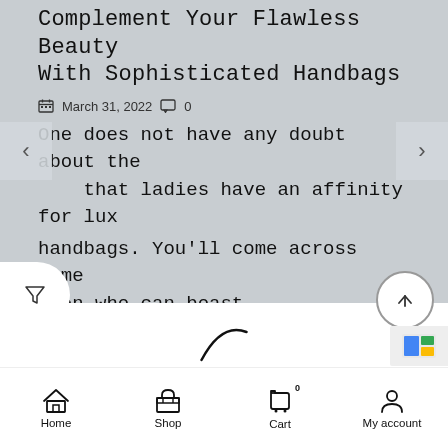Complement Your Flawless Beauty With Sophisticated Handbags
March 31, 2022  0
One does not have any doubt about the that ladies have an affinity for lux handbags. You'll come across some omen who can boast...
CONTINUE READING
Home  Shop  Cart 0  My account